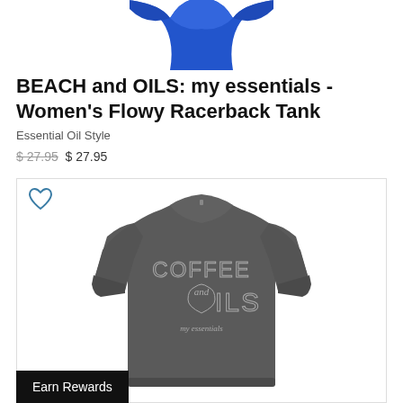[Figure (photo): Partial view of a blue women's flowy racerback tank top shown from neck/shoulder area, cropped at top]
BEACH and OILS: my essentials - Women's Flowy Racerback Tank
Essential Oil Style
$ 27.95  $ 27.95
[Figure (photo): Gray women's long-sleeve off-shoulder sweatshirt with 'COFFEE and OILS my essentials' graphic text printed on the front, shown on invisible mannequin]
Earn Rewards